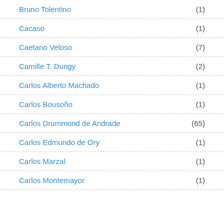Bruno Tolentino (1)
Cacaso (1)
Caetano Veloso (7)
Camille T. Dungy (2)
Carlos Alberto Machado (1)
Carlos Bousoño (1)
Carlos Drummond de Andrade (65)
Carlos Edmundo de Ory (1)
Carlos Marzal (1)
Carlos Montemayor (1)